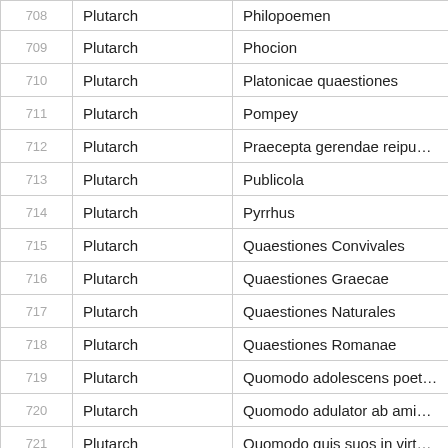|  | Author | Work |
| --- | --- | --- |
| 708 | Plutarch | Philopoemen |
| 709 | Plutarch | Phocion |
| 710 | Plutarch | Platonicae quaestiones |
| 711 | Plutarch | Pompey |
| 712 | Plutarch | Praecepta gerendae reipublicae |
| 713 | Plutarch | Publicola |
| 714 | Plutarch | Pyrrhus |
| 715 | Plutarch | Quaestiones Convivales |
| 716 | Plutarch | Quaestiones Graecae |
| 717 | Plutarch | Quaestiones Naturales |
| 718 | Plutarch | Quaestiones Romanae |
| 719 | Plutarch | Quomodo adolescens poetas audire d |
| 720 | Plutarch | Quomodo adulator ab amico internosc |
| 721 | Plutarch | Quomodo quis suos in virtute sentiat p |
| 722 | Plutarch | Regum et imperatorum apophthegmat |